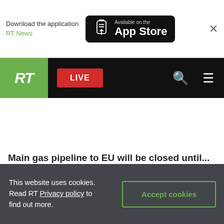Download the application RT News — Available on the App Store
[Figure (screenshot): RT news website navigation bar with green RT logo, red LIVE button, search icon, and hamburger menu on black background]
Main gas pipeline to EU will be closed until...
This website uses cookies. Read RT Privacy policy to find out more.
Accept cookies